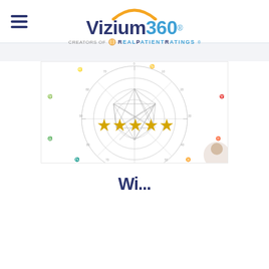[Figure (logo): Vizium360 logo with orange arc, hamburger menu icon, and 'creators of REALPATIENTRATINGS®' tagline]
[Figure (illustration): Astrological/network chart diagram with concentric circles, connecting lines forming a web/polygon pattern, overlaid with five gold stars rating]
Wi...